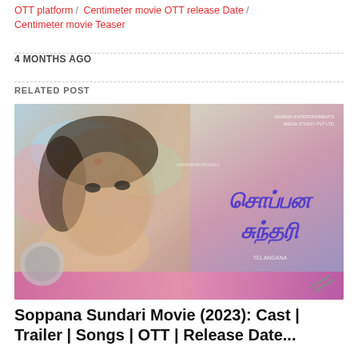OTT platform / Centimeter movie OTT release Date / Centimeter movie Teaser
4 MONTHS AGO
RELATED POST
[Figure (photo): Movie poster for Soppana Sundari (2023) showing a woman's face on the left side with colorful paint/watercolor art style, and large Tamil script text on the right side in purple/violet color. Production company details visible in top right corner.]
Soppana Sundari Movie (2023): Cast | Trailer | Songs | OTT | Release Date...